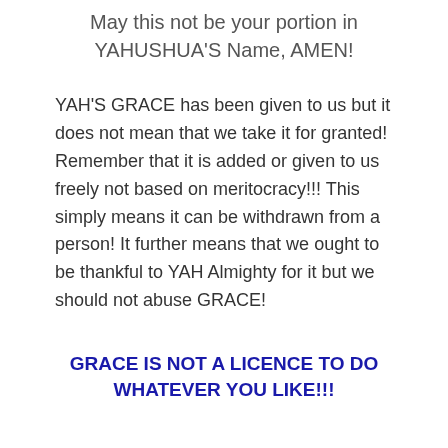May this not be your portion in YAHUSHUA'S Name, AMEN!
YAH'S GRACE has been given to us but it does not mean that we take it for granted! Remember that it is added or given to us freely not based on meritocracy!!! This simply means it can be withdrawn from a person! It further means that we ought to be thankful to YAH Almighty for it but we should not abuse GRACE!
GRACE IS NOT A LICENCE TO DO WHATEVER YOU LIKE!!!